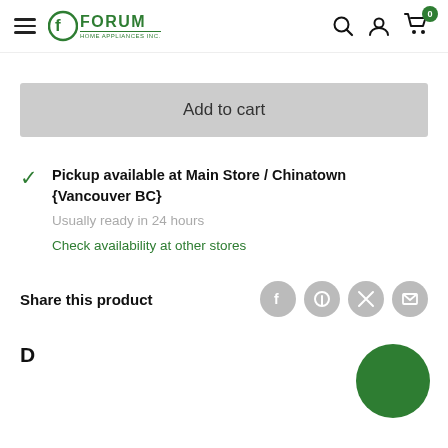Forum Home Appliances Inc. — navigation header with search, account, and cart icons
Add to cart
Pickup available at Main Store / Chinatown {Vancouver BC}
Usually ready in 24 hours
Check availability at other stores
Share this product
D... (Description section heading, partial)